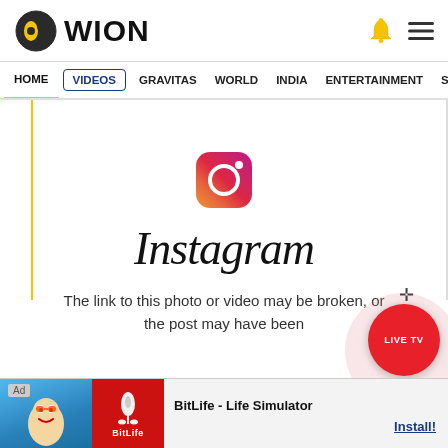[Figure (logo): WION news website logo with circular icon and text WION]
HOME  VIDEOS  GRAVITAS  WORLD  INDIA  ENTERTAINMENT  SPORT
[Figure (logo): Instagram logo icon (colorful gradient camera icon)]
Instagram
The link to this photo or video may be broken, or the post may have been
[Figure (screenshot): Ad banner: BitLife - Life Simulator app advertisement with Install button]